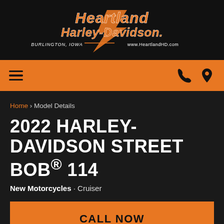[Figure (logo): Heartland Harley-Davidson logo with text 'Burlington, Iowa' and 'www.HeartlandHD.com']
Navigation bar with hamburger menu and phone/location icons
Home › Model Details
2022 HARLEY-DAVIDSON STREET BOB® 114
New Motorcycles · Cruiser
CALL NOW
MSRP